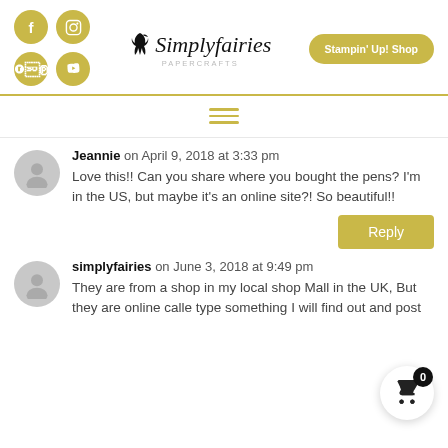[Figure (logo): Simply Fairies Papercrafts logo with fairy silhouette and stylized script text]
Stampin' Up! Shop
Jeannie on April 9, 2018 at 3:33 pm
Love this!! Can you share where you bought the pens? I'm in the US, but maybe it's an online site?! So beautiful!!
Reply
simplyfairies on June 3, 2018 at 9:49 pm
They are from a shop in my local shop Mall in the UK, But they are online called type something I will find out and post